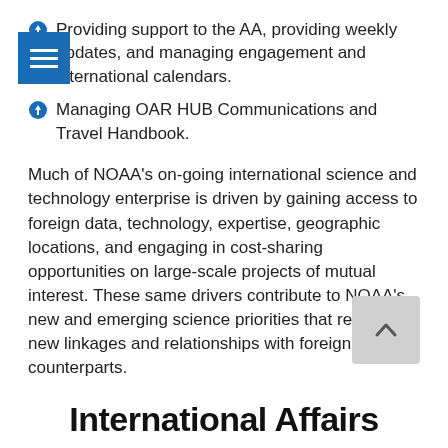Providing support to the AA, providing weekly updates, and managing engagement and international calendars.
Managing OAR HUB Communications and Travel Handbook.
Much of NOAA's on-going international science and technology enterprise is driven by gaining access to foreign data, technology, expertise, geographic locations, and engaging in cost-sharing opportunities on large-scale projects of mutual interest. These same drivers contribute to NOAA's new and emerging science priorities that require new linkages and relationships with foreign counterparts.
International Affairs